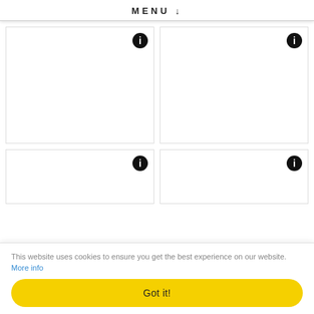MENU ↓
[Figure (screenshot): Grid of four card panels with info icons in top-right corners. Top two cards are tall (product/menu item placeholders). Bottom two cards are shorter, partially visible.]
This website uses cookies to ensure you get the best experience on our website. More info
Got it!